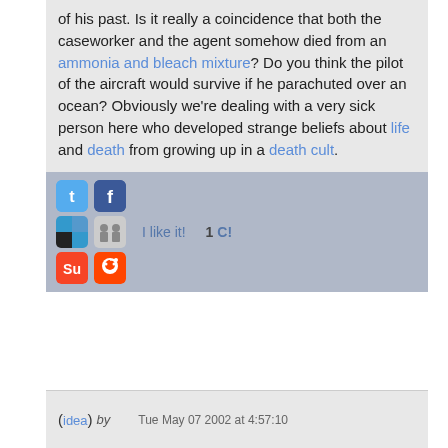of his past. Is it really a coincidence that both the caseworker and the agent somehow died from an ammonia and bleach mixture? Do you think the pilot of the aircraft would survive if he parachuted over an ocean? Obviously we're dealing with a very sick person here who developed strange beliefs about life and death from growing up in a death cult.
[Figure (other): Social sharing bar with Twitter, Facebook, Delicious, Digg, StumbleUpon, Reddit icons, 'I like it!' button, and '1 C!' count]
(idea) by   Tue May 07 2002 at 4:57:10